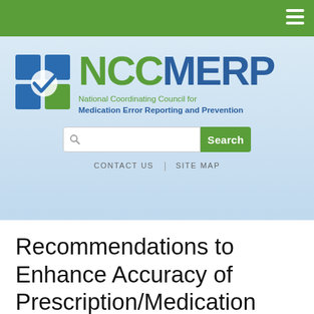NCCMERP - National Coordinating Council for Medication Error Reporting and Prevention
[Figure (logo): NCCMERP logo with green cross icon and blue/green text. NCC in green, MERP in blue. Tagline: National Coordinating Council for Medication Error Reporting and Prevention.]
Recommendations to Enhance Accuracy of Prescription/Medication Order Writing